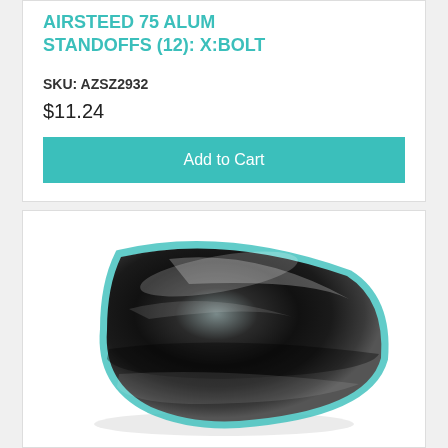AIRSTEED 75 ALUM STANDOFFS (12): X:BOLT
SKU: AZSZ2932
$11.24
Add to Cart
[Figure (photo): A chrome/black D-shaped or half-moon shaped metallic standoff hardware piece with a glossy reflective surface, photographed on a white background.]